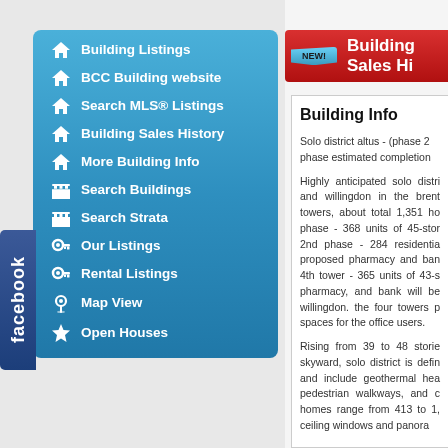Building Listings
BCC Building website
Search MLS® Listings
Building Sales History
More Building Info
Search Buildings
Search Strata
Our Listings
Rental Listings
Map View
Open Houses
Building Sales Hi
Building Info
Solo district altus - (phase 2 phase estimated completion
Highly anticipated solo distri and willingdon in the brent towers, about total 1,351 ho phase - 368 units of 45-stor 2nd phase - 284 residentia proposed pharmacy and ban 4th tower - 365 units of 43-s pharmacy, and bank will be willingdon. the four towers p spaces for the office users.
Rising from 39 to 48 storie skyward, solo district is defin and include geothermal hea pedestrian walkways, and c homes range from 413 to 1, ceiling windows and panora